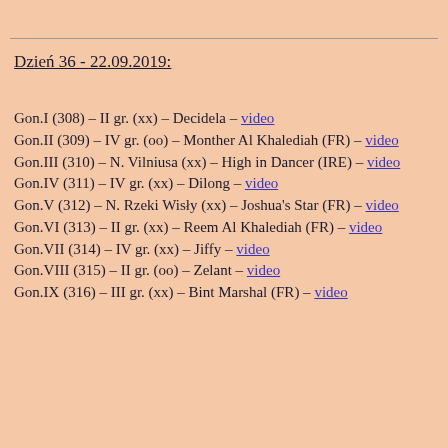Dzień 36 - 22.09.2019:
Gon.I (308) – II gr. (xx) – Decidela – video
Gon.II (309) – IV gr. (oo) – Monther Al Khalediah (FR) – video
Gon.III (310) – N. Vilniusa (xx) – High in Dancer (IRE) – video
Gon.IV (311) – IV gr. (xx) – Dilong – video
Gon.V (312) – N. Rzeki Wisły (xx) – Joshua's Star (FR) – video
Gon.VI (313) – II gr. (xx) – Reem Al Khalediah (FR) – video
Gon.VII (314) – IV gr. (xx) – Jiffy – video
Gon.VIII (315) – II gr. (oo) – Zelant – video
Gon.IX (316) – III gr. (xx) – Bint Marshal (FR) – video